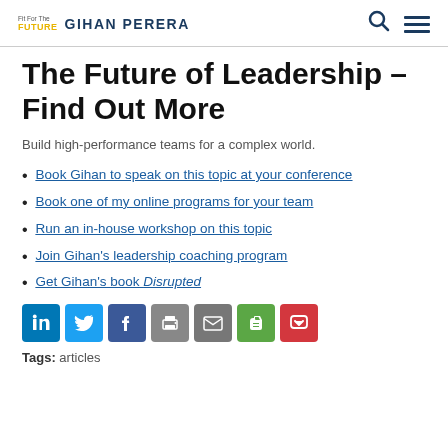Fit For The FUTURE | GIHAN PERERA
The Future of Leadership – Find Out More
Build high-performance teams for a complex world.
Book Gihan to speak on this topic at your conference
Book one of my online programs for your team
Run an in-house workshop on this topic
Join Gihan's leadership coaching program
Get Gihan's book Disrupted
[Figure (infographic): Social sharing icons: LinkedIn, Twitter, Facebook, Print, Email, Evernote, Pocket]
Tags: articles